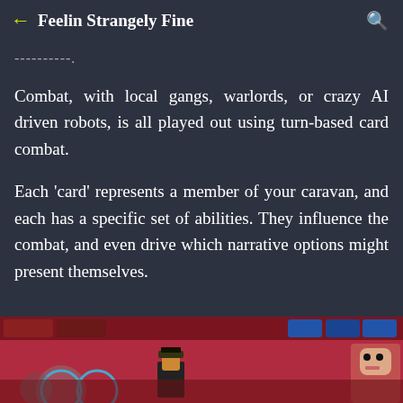← Feelin Strangely Fine 🔍
-----------.
Combat, with local gangs, warlords, or crazy AI driven robots, is all played out using turn-based card combat.
Each 'card' represents a member of your caravan, and each has a specific set of abilities. They influence the combat, and even drive which narrative options might present themselves.
[Figure (screenshot): Bottom portion of a game screenshot showing a card combat interface with a red/pink background, circular rings, pixel-art character cards including a figure in a hat and a skeletal/zombie character on the right edge.]